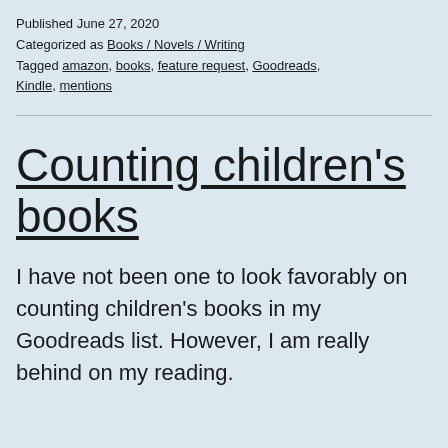Published June 27, 2020
Categorized as Books / Novels / Writing
Tagged amazon, books, feature request, Goodreads, Kindle, mentions
Counting children's books
I have not been one to look favorably on counting children's books in my Goodreads list. However, I am really behind on my reading.